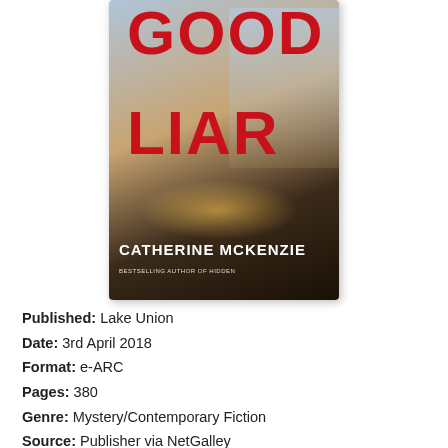[Figure (illustration): Book cover for 'The Good Liar' by Catherine McKenzie. Large red bold text reading 'GOOD LIAR' overlaid on a moody urban/atmospheric background. Author name in white capital letters at bottom. Subtitle: Bestselling Author of Hidden.]
Published:  Lake Union
Date: 3rd April 2018
Format: e-ARC
Pages: 380
Genre: Mystery/Contemporary Fiction
Source: Publisher via NetGalley
Rating:
[Figure (illustration): Three purple star rating icons inside a rounded rectangle border.]
[Figure (logo): Goodreads 'Add to goodreads' button with a golden 'g' circle and text '+ Add to goodreads' inside a rounded oval border.]